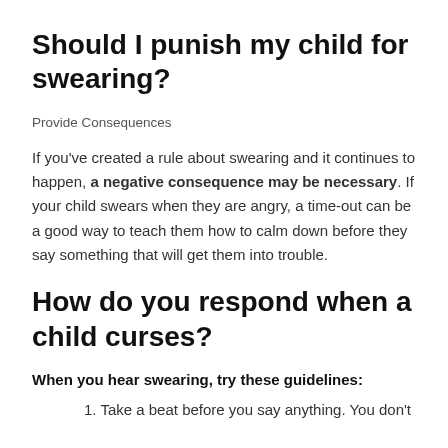Should I punish my child for swearing?
Provide Consequences
If you've created a rule about swearing and it continues to happen, a negative consequence may be necessary. If your child swears when they are angry, a time-out can be a good way to teach them how to calm down before they say something that will get them into trouble.
How do you respond when a child curses?
When you hear swearing, try these guidelines:
1. Take a beat before you say anything. You don't